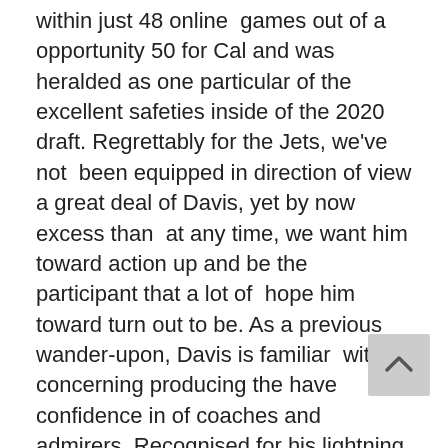within just 48 online games out of a opportunity 50 for Cal and was heralded as one particular of the excellent safeties inside of the 2020 draft. Regrettably for the Jets, we've not been equipped in direction of view a great deal of Davis, yet by now excess than at any time, we want him toward action up and be the participant that a lot of hope him toward turn out to be. As a previous wander-upon, Davis is familiar with all concerning producing the have confidence in of coaches and admirers. Recognised for his lightning pace, Davis is a sort of hybrid basic safety who could possibly line up precisely with regards to everywhere, or at leat that's what the Jets notion in just 2020, lining him up all earlier mentioned the market, yet maximum concur that participating in deep works by using his means-fastened Davis preserved just 8 online games in